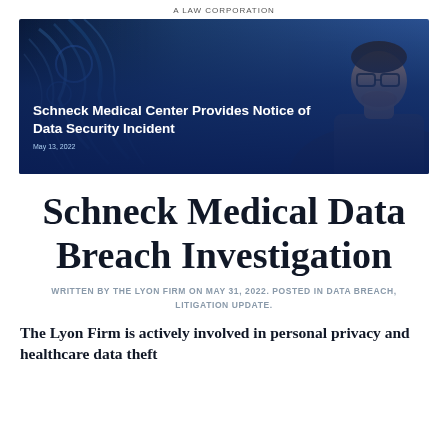A LAW CORPORATION
[Figure (photo): Hero image showing a man with glasses working with blue server/network cables, with overlay text: 'Schneck Medical Center Provides Notice of Data Security Incident' and date 'May 13, 2022']
Schneck Medical Data Breach Investigation
WRITTEN BY THE LYON FIRM ON MAY 31, 2022. POSTED IN DATA BREACH, LITIGATION UPDATE.
The Lyon Firm is actively involved in personal privacy and healthcare data theft